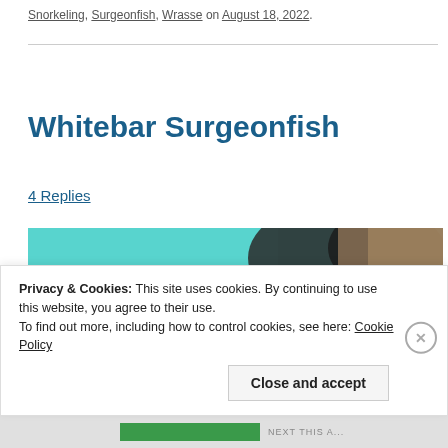Snorkeling, Surgeonfish, Wrasse on August 18, 2022.
Whitebar Surgeonfish
4 Replies
[Figure (photo): Underwater photo showing a school of surgeonfish swimming near a coral reef with teal/blue water.]
Privacy & Cookies: This site uses cookies. By continuing to use this website, you agree to their use. To find out more, including how to control cookies, see here: Cookie Policy
Close and accept